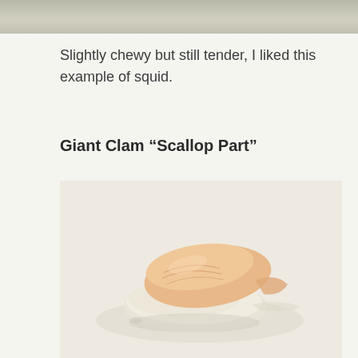[Figure (photo): Top portion of a food photograph, cropped at the top of the page — appears to be a close-up of a seafood dish on a white plate.]
Slightly chewy but still tender, I liked this example of squid.
Giant Clam “Scallop Part”
[Figure (photo): Close-up photograph of a piece of Giant Clam 'Scallop Part' nigiri sushi on a white plate. The topping is pale orange/peach colored shellfish meat placed on a small mound of white sushi rice.]